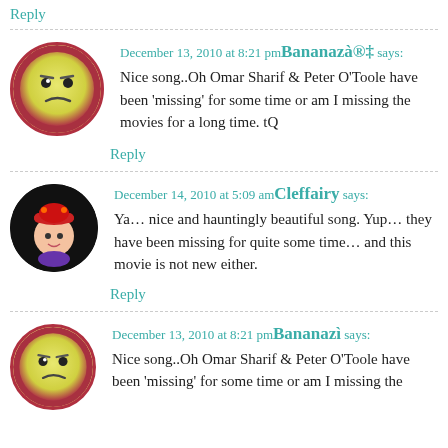Reply
December 13, 2010 at 8:21 pm Bananazà®‡ says: Nice song..Oh Omar Sharif & Peter O'Toole have been 'missing' for some time or am I missing the movies for a long time. tQ
Reply
December 14, 2010 at 5:09 am Cleffairy says: Ya… nice and hauntingly beautiful song. Yup… they have been missing for quite some time… and this movie is not new either.
Reply
December 13, 2010 at 8:21 pm Bananazì says: Nice song..Oh Omar Sharif & Peter O'Toole have been 'missing' for some time or am I missing the